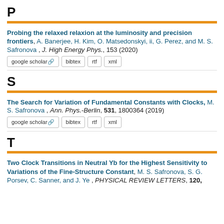P
Probing the relaxed relaxion at the luminosity and precision frontiers, A. Banerjee, H. Kim, O. Matsedonskyi, ii, G. Perez, and M. S. Safronova , J. High Energy Phys., 153 (2020)
google scholar | bibtex | rtf | xml
S
The Search for Variation of Fundamental Constants with Clocks, M. S. Safronova , Ann. Phys.-Berlin, 531, 1800364 (2019)
google scholar | bibtex | rtf | xml
T
Two Clock Transitions in Neutral Yb for the Highest Sensitivity to Variations of the Fine-Structure Constant, M. S. Safronova, S. G. Porsev, C. Sanner, and J. Ye , PHYSICAL REVIEW LETTERS, 120,